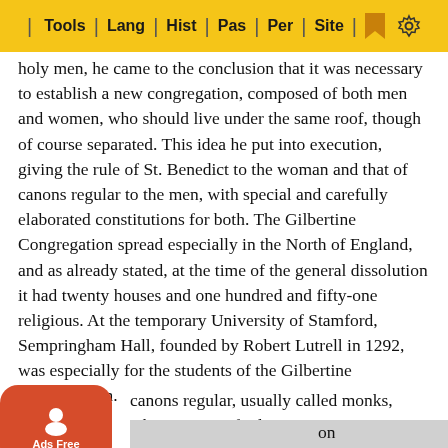Tools | Lang | Hist | Pas | Per | Site
holy men, he came to the conclusion that it was necessary to establish a new congregation, composed of both men and women, who should live under the same roof, though of course separated. This idea he put into execution, giving the rule of St. Benedict to the woman and that of canons regular to the men, with special and carefully elaborated constitutions for both. The Gilbertine Congregation spread especially in the North of England, and as already stated, at the time of the general dissolution it had twenty houses and one hundred and fifty-one religious. At the temporary University of Stamford, Sempringham Hall, founded by Robert Lutrell in 1292, was especially for the students of the Gilbertine Congregation.
canons regular, usually called monks, whom visitors find ing at the Hospice on the Great St. Bernard, belong to the Congregation of St. Augustine. St. Bernard and St. Nicho... on this fa... anon